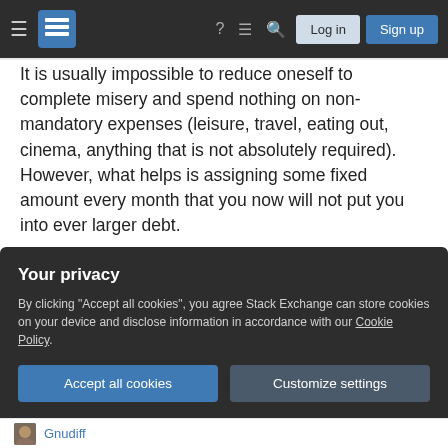Stack Exchange navigation bar with hamburger menu, logo, help, comments, search icons, Log in and Sign up buttons
It is usually impossible to reduce oneself to complete misery and spend nothing on non-mandatory expenses (leisure, travel, eating out, cinema, anything that is not absolutely required). However, what helps is assigning some fixed amount every month that you now will not put you into ever larger debt.
But at the moment it seems it only will be possible if you are able to refinance your debt or otherwise reduce the 57K you spend (hence the idea of
Your privacy
By clicking "Accept all cookies", you agree Stack Exchange can store cookies on your device and disclose information in accordance with our Cookie Policy.
Accept all cookies
Customize settings
Gnudiff